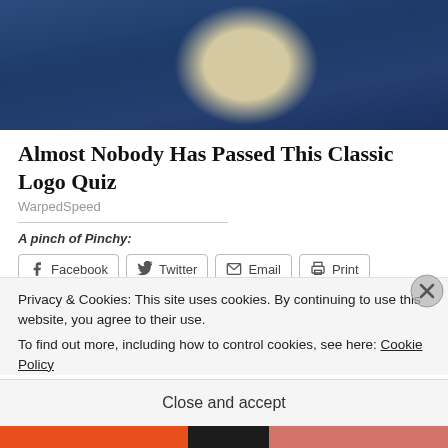[Figure (photo): Partial view of a figure wearing a dark navy blue coat with a white cravat or ruffled collar, cropped at the torso/shoulders.]
Almost Nobody Has Passed This Classic Logo Quiz
WarpedSpeed
A pinch of Pinchy:
Facebook  Twitter  Email  Print
Like
Be the first to like this.
Privacy & Cookies: This site uses cookies. By continuing to use this website, you agree to their use.
To find out more, including how to control cookies, see here: Cookie Policy
Close and accept